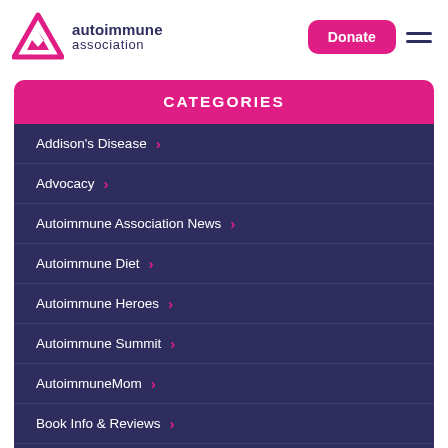[Figure (logo): Autoimmune Association logo — pink triangle/chevron mark with 'autoimmune association' wordmark in dark navy]
autoimmune association | Donate | Menu
CATEGORIES
Addison's Disease
Advocacy
Autoimmune Association News
Autoimmune Diet
Autoimmune Heroes
Autoimmune Summit
AutoimmuneMom
Book Info & Reviews